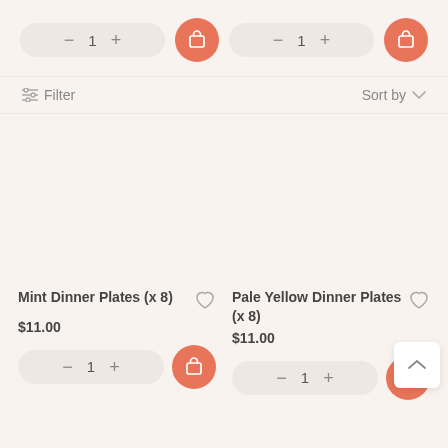[Figure (screenshot): E-commerce product listing page showing quantity controls at top, filter/sort bar, and two product cards: Mint Dinner Plates (x 8) at $11.00 and Pale Yellow Dinner Plates (x 8) at $11.00, each with quantity selectors and add-to-cart buttons.]
Filter
Sort by
Mint Dinner Plates (x 8)
$11.00
Pale Yellow Dinner Plates (x 8)
$11.00